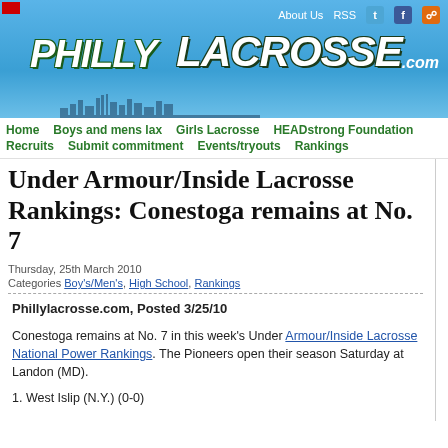[Figure (screenshot): PhillyLacrosse.com website banner with sky blue gradient background, Philly Lacrosse .com logo in stylized grunge font, and top navigation with About Us, RSS, Twitter, Facebook, RSS icon links]
Home | Boys and mens lax | Girls Lacrosse | HEADstrong Foundation | Recruits | Submit commitment | Events/tryouts | Rankings
Under Armour/Inside Lacrosse Rankings: Conestoga remains at No. 7
Thursday, 25th March 2010
Categories Boy's/Men's, High School, Rankings
Phillylacrosse.com, Posted 3/25/10
Conestoga remains at No. 7 in this week's Under Armour/Inside Lacrosse National Power Rankings. The Pioneers open their season Saturday at Landon (MD).
1. West Islip (N.Y.) (0-0)